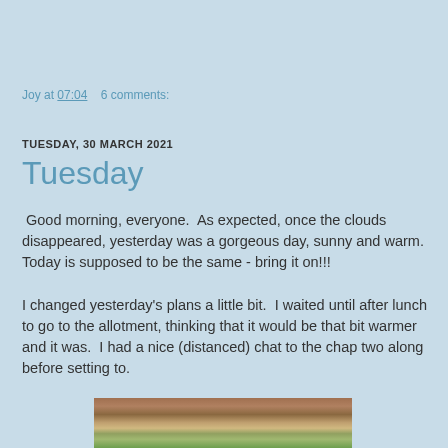Joy at 07:04    6 comments:
TUESDAY, 30 MARCH 2021
Tuesday
Good morning, everyone.  As expected, once the clouds disappeared, yesterday was a gorgeous day, sunny and warm.  Today is supposed to be the same - bring it on!!!
I changed yesterday's plans a little bit.  I waited until after lunch to go to the allotment, thinking that it would be that bit warmer and it was.  I had a nice (distanced) chat to the chap two along before setting to.
[Figure (photo): Outdoor photo showing an allotment or garden area with soil and greenery visible]